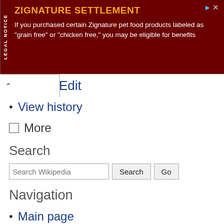[Figure (screenshot): Advertisement banner for Zignature Settlement with dark red background. LEGAL NOTICE tab on left side. Title: ZIGNATURE SETTLEMENT in orange/yellow. Body text about grain free or chicken free pet food products.]
Edit
View history
More
Search
Search Wikipedia [Search] [Go]
Navigation
Main page
Contents
Current events
Random article
About Wikipedia
Contact us
Donate